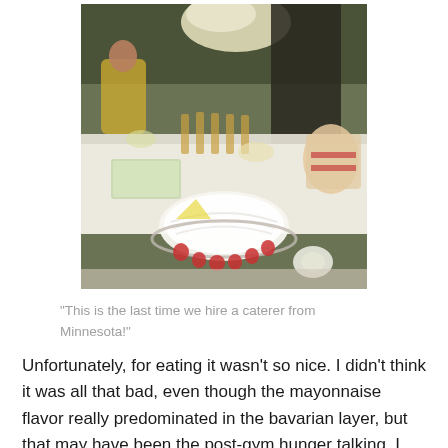[Figure (photo): Vintage photo of an elaborate party or banquet table spread with food, drinks in wine glasses, floral arrangements, a white molded gelatin/salad dish surrounded by strawberries, a layered cake on the right, and people visible in the background.]
"This is the last time we hire a caterer from Minnesota!"
Unfortunately, for eating it wasn't so nice. I didn't think it was all that bad, even though the mayonnaise flavor really predominated in the bavarian layer, but that may have been the post-gym hunger talking. I still think nuts don't